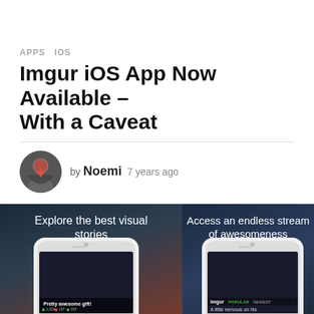APPS  IOS
Imgur iOS App Now Available – With a Caveat
by Noemi  7 years ago
[Figure (screenshot): Two iOS app screenshots side by side. Left: dark background with text 'Explore the best visual stories' and an iPhone showing 'Pretty awesome gift!' with stats. Right: dark background with text 'Access an endless stream of awesomeness' and an iPhone showing the Imgur app with POPULAR and NEWEST tabs and text 'A little nervous on his'.]